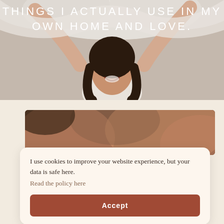[Figure (photo): Young woman with dark curly hair smiling broadly, raising white fabric/sheets above her head against a light background. Photo occupies the top portion of the page.]
THINGS I ACTUALLY USE IN MY OWN HOME AND LOVE.
[Figure (photo): Close-up photo strip showing warm-toned skin, possibly hands or body, with blurred background in brown/terracotta tones.]
I use cookies to improve your website experience, but your data is safe here.
Read the policy here
Accept